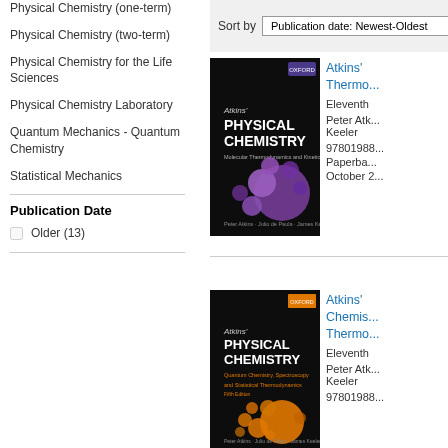Physical Chemistry (one-term)
Physical Chemistry (two-term)
Physical Chemistry for the Life Sciences
Physical Chemistry Laboratory
Quantum Mechanics - Quantum Chemistry
Statistical Mechanics
Publication Date
Older (13)
Sort by Publication date: Newest-Oldest
[Figure (photo): Book cover of Atkins' Physical Chemistry, dark background with purple spheres, Oxford University Press]
Atkins' Thermo... Eleventh ... Peter Atk... Keeler 97801988... Paperba... October 2...
[Figure (photo): Book cover of Atkins' Physical Chemistry, dark background with orange spheres, Oxford University Press]
Atkins' Chemis... Thermo... Eleventh ... Peter Atk... Keeler 97801988...